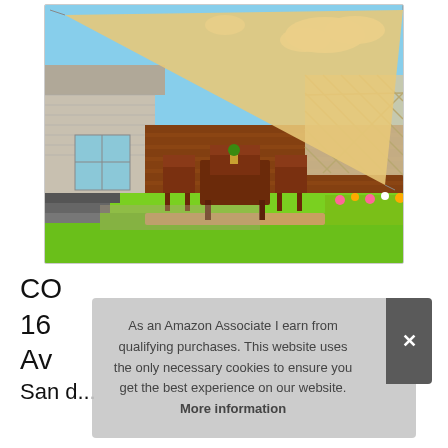[Figure (photo): Product photo of a beige/sand colored triangular sun shade sail stretched over an outdoor patio area with a dining table and chairs set on lush green grass, with a brick wall fence and lattice fence in the background against a blue sky with white clouds.]
CO
16
Av
San d...
As an Amazon Associate I earn from qualifying purchases. This website uses the only necessary cookies to ensure you get the best experience on our website. More information